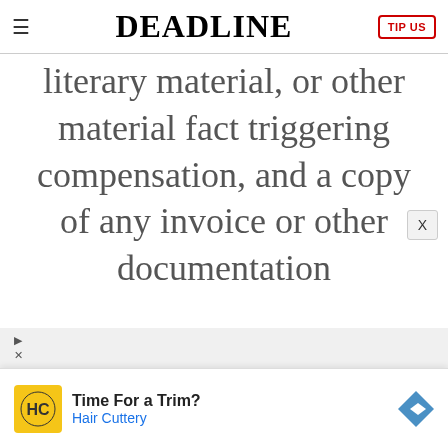DEADLINE
literary material, or other material fact triggering compensation, and a copy of any invoice or other documentation
[Figure (other): Advertisement banner for Hair Cuttery: 'Time For a Trim? Hair Cuttery' with HC logo and navigation arrow icon]